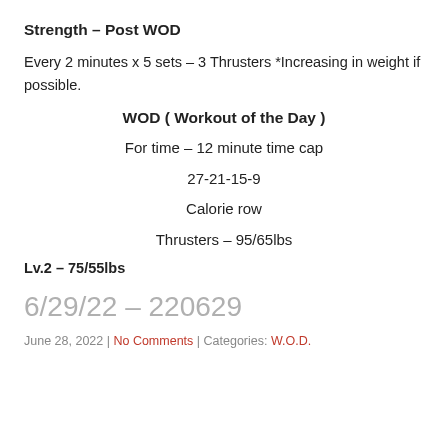Strength – Post WOD
Every 2 minutes x 5 sets – 3 Thrusters *Increasing in weight if possible.
WOD ( Workout of the Day )
For time – 12 minute time cap
27-21-15-9
Calorie row
Thrusters – 95/65lbs
Lv.2 – 75/55lbs
6/29/22 – 220629
June 28, 2022 | No Comments | Categories: W.O.D.